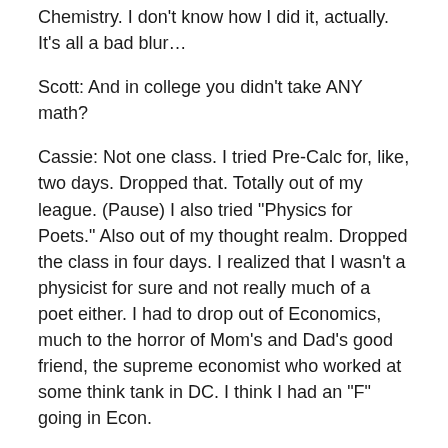Chemistry. I don't know how I did it, actually. It's all a bad blur…
Scott: And in college you didn't take ANY math?
Cassie: Not one class. I tried Pre-Calc for, like, two days. Dropped that. Totally out of my league. (Pause) I also tried “Physics for Poets.” Also out of my thought realm. Dropped the class in four days. I realized that I wasn't a physicist for sure and not really much of a poet either. I had to drop out of Economics, much to the horror of Mom's and Dad's good friend, the supreme economist who worked at some think tank in DC. I think I had an “F” going in Econ.
Scott: Dear God…
Cassie: I took Advanced Biology and Anatomy and